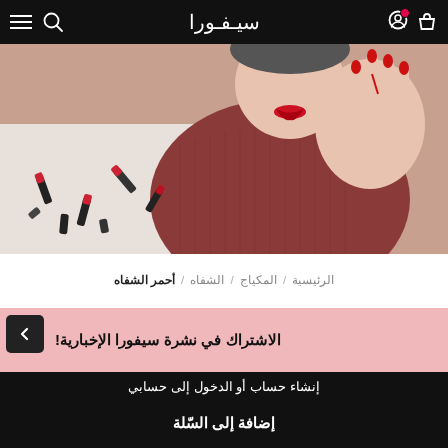سيفورا
[Figure (photo): Woman in a burgundy ribbed sweater holding up a hand with red nail polish, surrounded by scattered black lipstick tubes on a white surface]
الرئيسية / المكياج / الشفاه / أحمر الشفاه
الاشتراك في نشرة سيفورا الإخبارية!
إنشاء حساب أو الدخول إلى حسابي
إضافة إلى السّلة